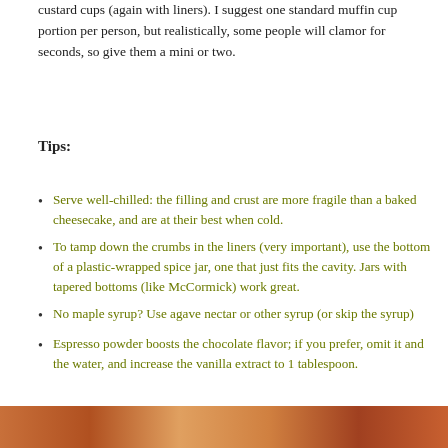custard cups (again with liners). I suggest one standard muffin cup portion per person, but realistically, some people will clamor for seconds, so give them a mini or two.
Tips:
Serve well-chilled: the filling and crust are more fragile than a baked cheesecake, and are at their best when cold.
To tamp down the crumbs in the liners (very important), use the bottom of a plastic-wrapped spice jar, one that just fits the cavity. Jars with tapered bottoms (like McCormick) work great.
No maple syrup? Use agave nectar or other syrup (or skip the syrup)
Espresso powder boosts the chocolate flavor; if you prefer, omit it and the water, and increase the vanilla extract to 1 tablespoon.
[Figure (photo): Bottom portion of a food photo showing warm reddish-brown tones, partially visible at the bottom of the page]